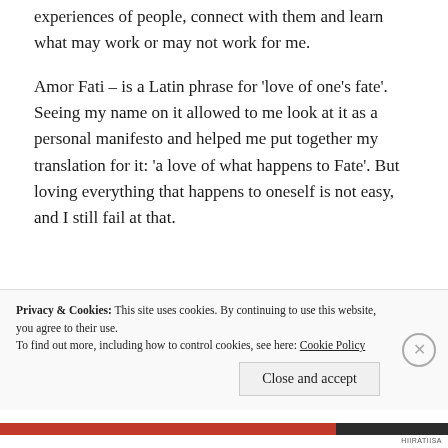experiences of people, connect with them and learn what may work or may not work for me.
Amor Fati – is a Latin phrase for 'love of one's fate'. Seeing my name on it allowed to me look at it as a personal manifesto and helped me put together my translation for it: 'a love of what happens to Fate'. But loving everything that happens to oneself is not easy, and I still fail at that.
Privacy & Cookies: This site uses cookies. By continuing to use this website, you agree to their use.
To find out more, including how to control cookies, see here: Cookie Policy